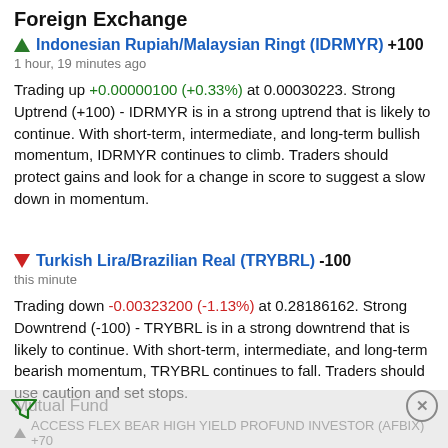Foreign Exchange
Indonesian Rupiah/Malaysian Ringt (IDRMYR) +100
1 hour, 19 minutes ago
Trading up +0.00000100 (+0.33%) at 0.00030223. Strong Uptrend (+100) - IDRMYR is in a strong uptrend that is likely to continue. With short-term, intermediate, and long-term bullish momentum, IDRMYR continues to climb. Traders should protect gains and look for a change in score to suggest a slow down in momentum.
Turkish Lira/Brazilian Real (TRYBRL) -100
this minute
Trading down -0.00323200 (-1.13%) at 0.28186162. Strong Downtrend (-100) - TRYBRL is in a strong downtrend that is likely to continue. With short-term, intermediate, and long-term bearish momentum, TRYBRL continues to fall. Traders should use caution and set stops.
Mutual Fund
ACCESS FLEX BEAR HIGH YIELD PROFUND INVESTOR (AFBIX) +70
1 day ago